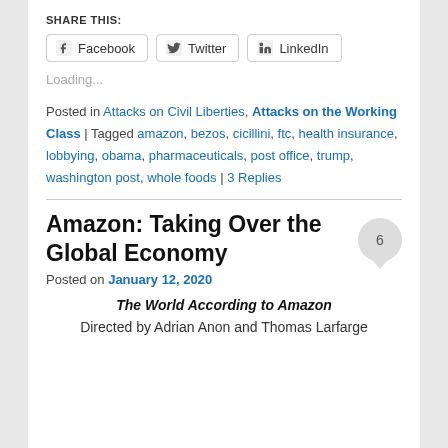SHARE THIS:
[Figure (other): Social share buttons: Facebook, Twitter, LinkedIn]
Loading...
Posted in Attacks on Civil Liberties, Attacks on the Working Class | Tagged amazon, bezos, cicillini, ftc, health insurance, lobbying, obama, pharmaceuticals, post office, trump, washington post, whole foods | 3 Replies
Amazon: Taking Over the Global Economy
Posted on January 12, 2020
The World According to Amazon
Directed by Adrian Anon and Thomas Larfarge